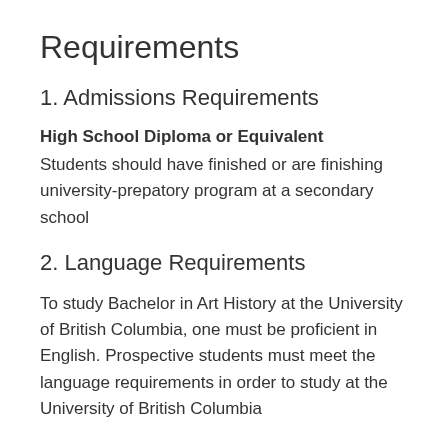Requirements
1. Admissions Requirements
High School Diploma or Equivalent
Students should have finished or are finishing university-prepatory program at a secondary school
2. Language Requirements
To study Bachelor in Art History at the University of British Columbia, one must be proficient in English. Prospective students must meet the language requirements in order to study at the University of British Columbia